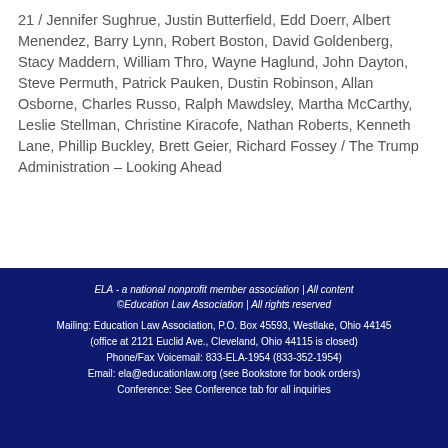21 / Jennifer Sughrue, Justin Butterfield, Edd Doerr, Albert Menendez, Barry Lynn, Robert Boston, David Goldenberg, Stacy Maddern, William Thro, Wayne Haglund, John Dayton, Steve Permuth, Patrick Pauken, Dustin Robinson, Allan Osborne, Charles Russo, Ralph Mawdsley, Martha McCarthy, Leslie Stellman, Christine Kiracofe, Nathan Roberts, Kenneth Lane, Phillip Buckley, Brett Geier, Richard Fossey / The Trump Administration – Looking Ahead
ELA - a national nonprofit member association | All content ©Education Law Association | All rights reserved
Mailing: Education Law Association, P.O. Box 45593, Westlake, Ohio 44145
(office at 2121 Euclid Ave., Cleveland, Ohio 44115 is closed)
Phone/Fax Voicemail: 833-ELA-1954 (833-352-1954)
Email: ela@educationlaw.org (see Bookstore for book orders)
Conference: See Conference tab for all inquiries